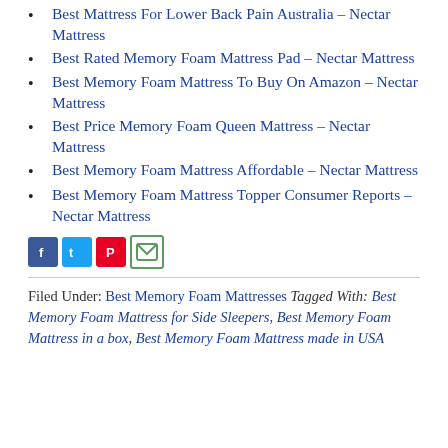Best Mattress For Lower Back Pain Australia – Nectar Mattress
Best Rated Memory Foam Mattress Pad – Nectar Mattress
Best Memory Foam Mattress To Buy On Amazon – Nectar Mattress
Best Price Memory Foam Queen Mattress – Nectar Mattress
Best Memory Foam Mattress Affordable – Nectar Mattress
Best Memory Foam Mattress Topper Consumer Reports – Nectar Mattress
[Figure (other): Social share icons: Facebook, Twitter, Pinterest, Email]
Filed Under: Best Memory Foam Mattresses Tagged With: Best Memory Foam Mattress for Side Sleepers, Best Memory Foam Mattress in a box, Best Memory Foam Mattress made in USA